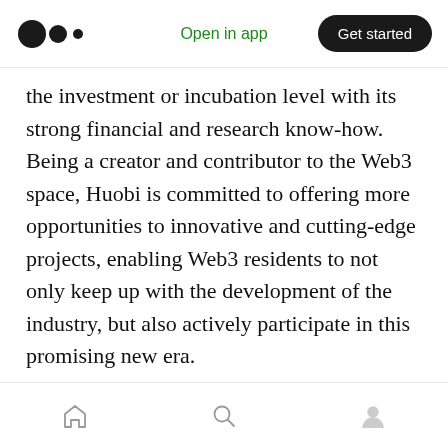Medium logo | Open in app | Get started
the investment or incubation level with its strong financial and research know-how. Being a creator and contributor to the Web3 space, Huobi is committed to offering more opportunities to innovative and cutting-edge projects, enabling Web3 residents to not only keep up with the development of the industry, but also actively participate in this promising new era.
The Web3 world is envisioned as one underscored by autonomy, with no central organization, and where content will be owned
Home | Search | Profile